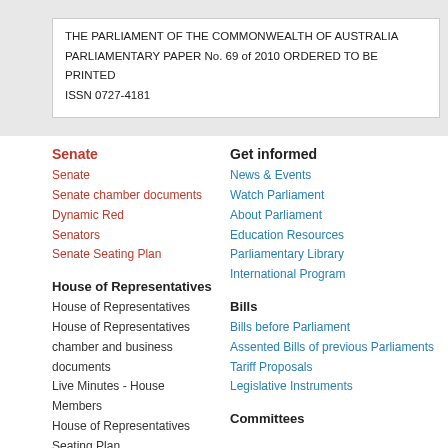THE PARLIAMENT OF THE COMMONWEALTH OF AUSTRALIA
PARLIAMENTARY PAPER No. 69 of 2010 ORDERED TO BE PRINTED
ISSN 0727-4181
Senate
Senate
Senate chamber documents
Dynamic Red
Senators
Senate Seating Plan
Get informed
News & Events
Watch Parliament
About Parliament
Education Resources
Parliamentary Library
International Program
House of Representatives
House of Representatives
House of Representatives chamber and business documents
Live Minutes - House
Members
House of Representatives Seating Plan
Bills
Bills before Parliament
Assented Bills of previous Parliaments
Tariff Proposals
Legislative Instruments
Committees